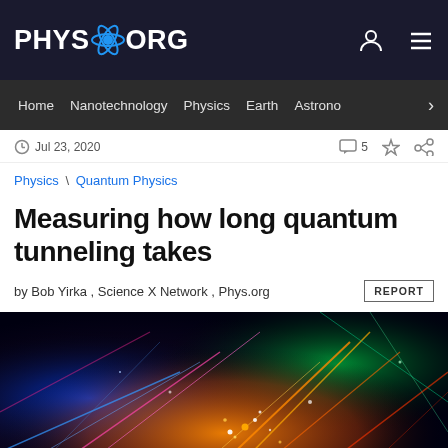PHYS.ORG
Home | Nanotechnology | Physics | Earth | Astronomy
Jul 23, 2020   5
Physics \ Quantum Physics
Measuring how long quantum tunneling takes
by Bob Yirka , Science X Network , Phys.org   REPORT
[Figure (photo): Abstract colorful image of particle physics or quantum energy visualization with streaks of light in blue, green, orange, pink, and red against a dark background]